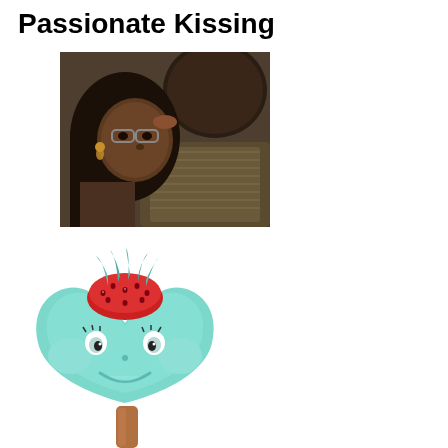Passionate Kissing
[Figure (photo): Two people in an intimate kissing embrace, close-up shot showing faces and upper bodies wearing a knit sweater.]
[Figure (illustration): Cartoon heart-shaped mint/teal colored ice cream popsicle character with a strawberry on top acting as a hat, with cartoon eyes and a smiling face, held by a wooden stick.]